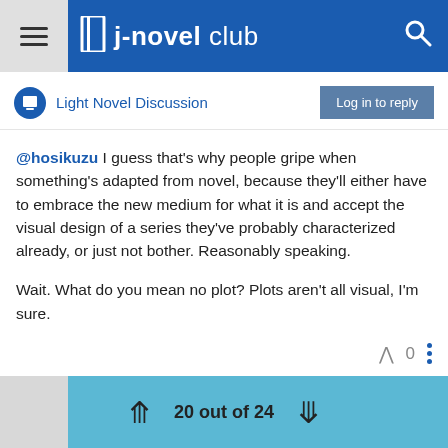j-novel club
Light Novel Discussion
@hosikuzu I guess that's why people gripe when something's adapted from novel, because they'll either have to embrace the new medium for what it is and accept the visual design of a series they've probably characterized already, or just not bother. Reasonably speaking.

Wait. What do you mean no plot? Plots aren't all visual, I'm sure.
20 out of 24